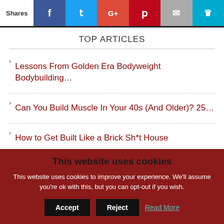Shares | Facebook | Twitter | Google+ | Pinterest | Email | Crown
TOP ARTICLES
Lessons From Golden Era Bodyweight Bodybuilding…
Can You Build Muscle In Your 40s (And Older)? 25…
How to Get Built Like a Brick Sh*t House
This website uses cookies
This website uses cookies to improve your experience. We'll assume you're ok with this, but you can opt-out if you wish.
Accept | Reject | Read More